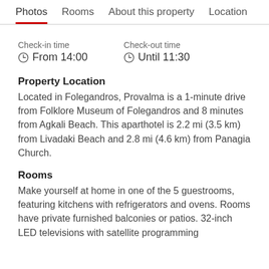Photos  Rooms  About this property  Location
Check-in time
⊙ From 14:00
Check-out time
⊙ Until 11:30
Property Location
Located in Folegandros, Provalma is a 1-minute drive from Folklore Museum of Folegandros and 8 minutes from Agkali Beach. This aparthotel is 2.2 mi (3.5 km) from Livadaki Beach and 2.8 mi (4.6 km) from Panagia Church.
Rooms
Make yourself at home in one of the 5 guestrooms, featuring kitchens with refrigerators and ovens. Rooms have private furnished balconies or patios. 32-inch LED televisions with satellite programming